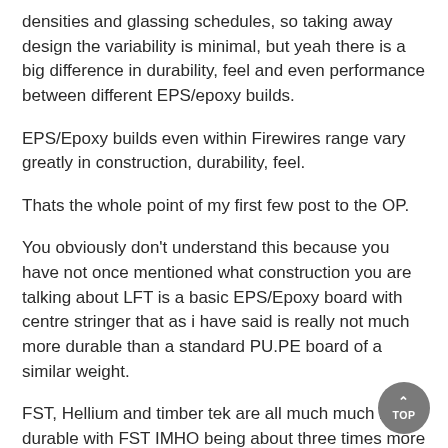densities and glassing schedules, so taking away design the variability is minimal, but yeah there is a big difference in durability, feel and even performance between different EPS/epoxy builds.
EPS/Epoxy builds even within Firewires range vary greatly in construction, durability, feel.
Thats the whole point of my first few post to the OP.
You obviously don't understand this because you have not once mentioned what construction you are talking about LFT is a basic EPS/Epoxy board with centre stringer that as i have said is really not much more durable than a standard PU.PE board of a similar weight.
FST, Hellium and timber tek are all much much more durable with FST IMHO being about three times more durable than LFT or a standard PU/PE board.
And then from board maker to board maker EPS/Epoxy boards vary greatly in construction, durability, feel.